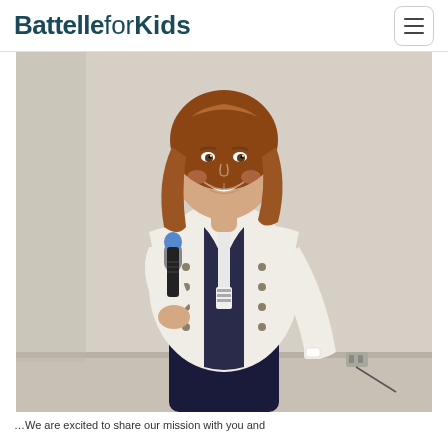Battelle for Kids
[Figure (photo): A woman with shoulder-length reddish-brown hair, wearing a white blazer over a dark navy outfit with a conference lanyard, holding a microphone and smiling while presenting in what appears to be a conference or training room setting.]
...We are excited to share our mission with you and...